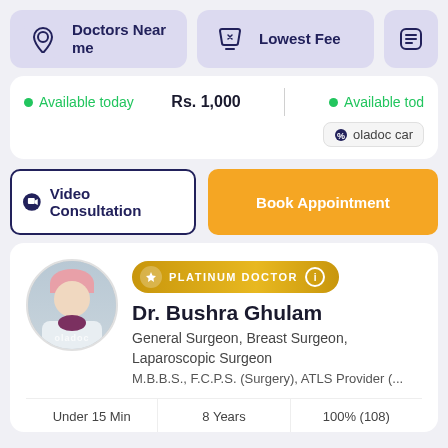Doctors Near me
Lowest Fee
Available today   Rs. 1,000
Available tod
oladoc car
Video Consultation
Book Appointment
PLATINUM DOCTOR
Dr. Bushra Ghulam
General Surgeon, Breast Surgeon, Laparoscopic Surgeon
M.B.B.S., F.C.P.S. (Surgery), ATLS Provider (...
Under 15 Min   8 Years   100% (108)